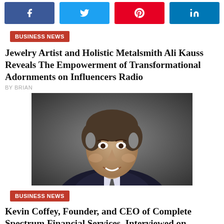[Figure (screenshot): Social media share buttons: Facebook, Twitter, Pinterest, LinkedIn]
BUSINESS NEWS
Jewelry Artist and Holistic Metalsmith Ali Kauss Reveals The Empowerment of Transformational Adornments on Influencers Radio
BY BRIAN
[Figure (photo): Professional headshot of a middle-aged man in a dark suit, smiling, against a dark grey background]
BUSINESS NEWS
Kevin Coffey, Founder, and CEO of Complete Spectrum Financial Services, Interviewed on Podcast Discussing